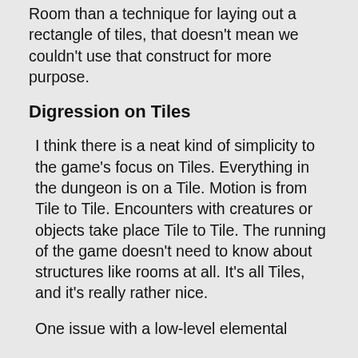Room than a technique for laying out a rectangle of tiles, that doesn't mean we couldn't use that construct for more purpose.
Digression on Tiles
I think there is a neat kind of simplicity to the game's focus on Tiles. Everything in the dungeon is on a Tile. Motion is from Tile to Tile. Encounters with creatures or objects take place Tile to Tile. The running of the game doesn't need to know about structures like rooms at all. It's all Tiles, and it's really rather nice.
One issue with a low-level elemental